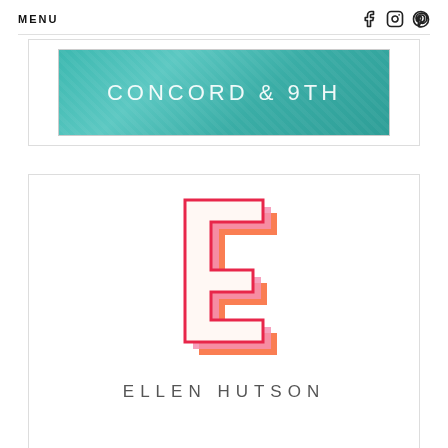MENU
[Figure (logo): Concord & 9th brand banner with teal/turquoise watercolor background and white text]
[Figure (logo): Ellen Hutson brand logo with stylized 3D letter E in orange, pink, and red colors, with text ELLEN HUTSON below]